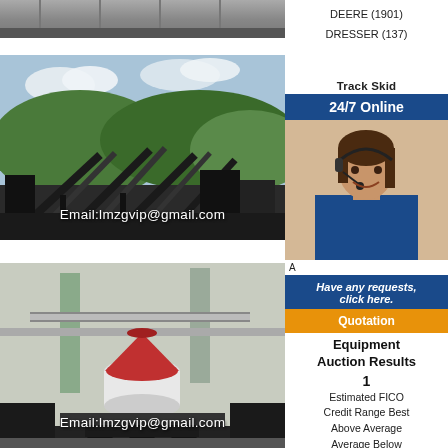[Figure (photo): Top partial image of industrial structure, mostly cropped, grey/metallic]
DEERE (1901)
DRESSER (137)
Track Skid (partial)
[Figure (photo): Industrial crushing/mining plant with conveyor belts and machinery, green hills in background, sky with clouds. Email:lmzgvip@gmail.com overlay.]
24/7 Online
[Figure (photo): Customer service agent, woman with headset smiling, blue uniform]
Have any requests, click here.
Quotation
[Figure (photo): Industrial cone crusher machine on platform with building structure. Email:lmzgvip@gmail.com overlay.]
Equipment Auction Results
1
Estimated FICO
Credit Range Best
Above Average
Average Below